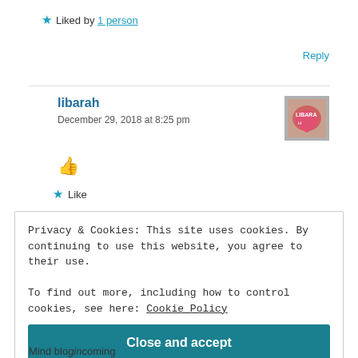★ Liked by 1 person
Reply
libarah
December 29, 2018 at 8:25 pm
[Figure (illustration): Avatar thumbnail for user libarah showing a heart design]
👍
★ Like
Privacy & Cookies: This site uses cookies. By continuing to use this website, you agree to their use. To find out more, including how to control cookies, see here: Cookie Policy
Close and accept
Mind bblogincoming